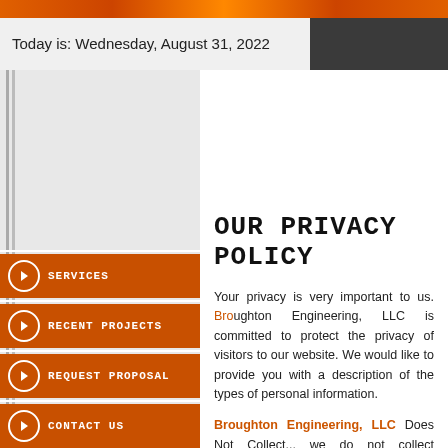Today is: Wednesday, August 31, 2022
OUR PRIVACY POLICY
Your privacy is very important to us. Broughton Engineering, LLC is committed to protecting the privacy of visitors to our website. We'd like to provide you with a description of the types of personal information.
Broughton Engineering, LLC Does Not Collect... we do not collect personally identifiable information unless you give it to us via an electronic mail message. If you give us information, we keep it confidential. When you visit our site, we collect some basic information.
SERVICES
RECENT PROJECTS
REQUEST PROPOSAL
CONTACT US